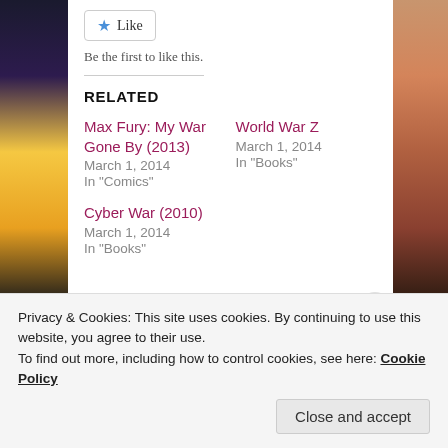[Figure (other): Like button with star icon]
Be the first to like this.
RELATED
Max Fury: My War Gone By (2013)
March 1, 2014
In "Comics"
World War Z
March 1, 2014
In "Books"
Cyber War (2010)
March 1, 2014
In "Books"
Privacy & Cookies: This site uses cookies. By continuing to use this website, you agree to their use.
To find out more, including how to control cookies, see here: Cookie Policy